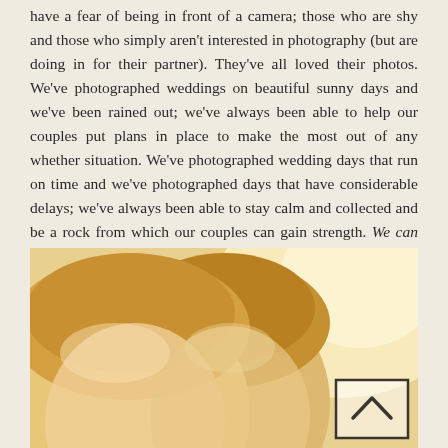have a fear of being in front of a camera; those who are shy and those who simply aren't interested in photography (but are doing in for their partner). They've all loved their photos. We've photographed weddings on beautiful sunny days and we've been rained out; we've always been able to help our couples put plans in place to make the most out of any whether situation. We've photographed wedding days that run on time and we've photographed days that have considerable delays; we've always been able to stay calm and collected and be a rock from which our couples can gain strength. We can can do all of this only because of the experience we've gained over our years in the profession.
[Figure (photo): A warm, golden-toned close-up photograph of two people (likely a couple) with their heads close together, shot with soft backlight. A back-to-top navigation button (chevron inside a square border) overlays the bottom-right corner of the image.]